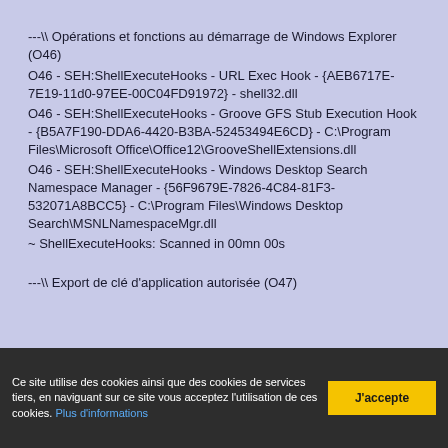---\\ Opérations et fonctions au démarrage de Windows Explorer (O46)
O46 - SEH:ShellExecuteHooks - URL Exec Hook - {AEB6717E-7E19-11d0-97EE-00C04FD91972} - shell32.dll
O46 - SEH:ShellExecuteHooks - Groove GFS Stub Execution Hook - {B5A7F190-DDA6-4420-B3BA-52453494E6CD} - C:\Program Files\Microsoft Office\Office12\GrooveShellExtensions.dll
O46 - SEH:ShellExecuteHooks - Windows Desktop Search Namespace Manager - {56F9679E-7826-4C84-81F3-532071A8BCC5} - C:\Program Files\Windows Desktop Search\MSNLNamespaceMgr.dll
~ ShellExecuteHooks: Scanned in 00mn 00s
---\\ Export de clé d'application autorisée (O47)
Ce site utilise des cookies ainsi que des cookies de services tiers, en naviguant sur ce site vous acceptez l'utilisation de ces cookies. Plus d'informations
J'accepte